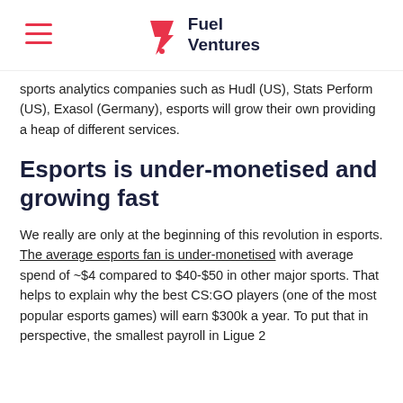Fuel Ventures
sports analytics companies such as Hudl (US), Stats Perform (US), Exasol (Germany), esports will grow their own providing a heap of different services.
Esports is under-monetised and growing fast
We really are only at the beginning of this revolution in esports. The average esports fan is under-monetised with average spend of ~$4 compared to $40-$50 in other major sports. That helps to explain why the best CS:GO players (one of the most popular esports games) will earn $300k a year. To put that in perspective, the smallest payroll in Ligue 2